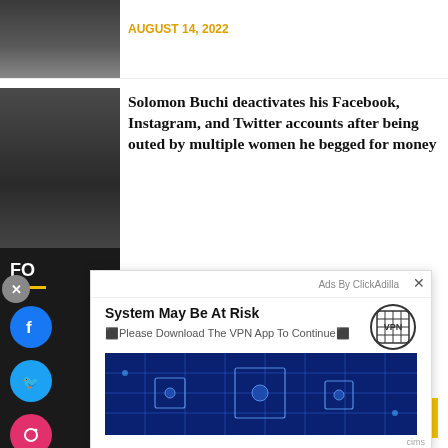[Figure (photo): Person in formal attire with bow tie, cropped portrait photo]
AUGUST 14, 2022
[Figure (photo): Portrait photo of Solomon Buchi wearing a black hat and black outfit]
Solomon Buchi deactivates his Facebook, Instagram, and Twitter accounts after being outed by multiple women he begged for money
[Figure (screenshot): Ad overlay from ClickAdilla showing VPN advertisement. Title: System May Be At Risk. Subtitle: Please Download The VPN App To Continue. VPN logo on the right. Circuit board image below.]
Ads By ClickAdilla
System May Be At Risk
⬛Please Download The VPN App To Continue⬛
FO
[Figure (photo): Facebook, Twitter, Instagram social media buttons on dark sidebar]
[Figure (photo): Circuit board image used in VPN advertisement]